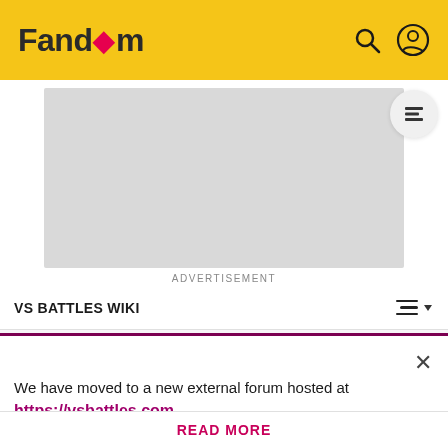Fandom
[Figure (other): Advertisement placeholder box (grey rectangle)]
ADVERTISEMENT
VS BATTLES WIKI
Trevor henderson verse sources
We have moved to a new external forum hosted at https://vsbattles.com
READ MORE